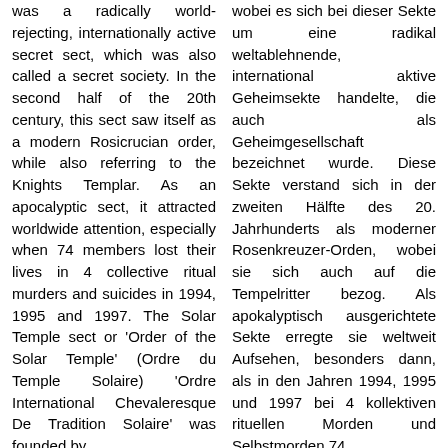was a radically world-rejecting, internationally active secret sect, which was also called a secret society. In the second half of the 20th century, this sect saw itself as a modern Rosicrucian order, while also referring to the Knights Templar. As an apocalyptic sect, it attracted worldwide attention, especially when 74 members lost their lives in 4 collective ritual murders and suicides in 1994, 1995 and 1997. The Solar Temple sect or 'Order of the Solar Temple' (Ordre du Temple Solaire) 'Ordre International Chevaleresque De Tradition Solaire' was founded by
wobei es sich bei dieser Sekte um eine radikal weltablehnende, international aktive Geheimsekte handelte, die auch als Geheimgesellschaft bezeichnet wurde. Diese Sekte verstand sich in der zweiten Hälfte des 20. Jahrhunderts als moderner Rosenkreuzer-Orden, wobei sie sich auch auf die Tempelritter bezog. Als apokalyptisch ausgerichtete Sekte erregte sie weltweit Aufsehen, besonders dann, als in den Jahren 1994, 1995 und 1997 bei 4 kollektiven rituellen Morden und Selbstmorden 74